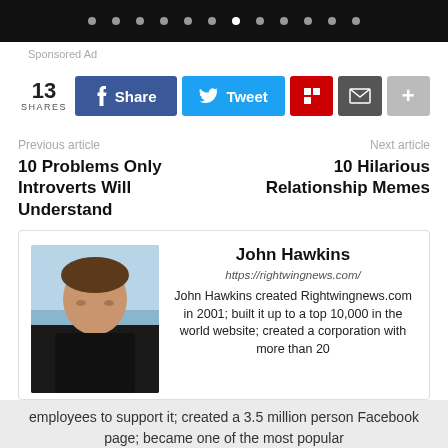• • • • • • • • • • • •
Sponsored Ad
13 SHARES  Share  Tweet  [Flipboard]  [Email]  [+]
Previous article
Next article
10 Problems Only Introverts Will Understand
10 Hilarious Relationship Memes
John Hawkins
https://rightwingnews.com/
John Hawkins created Rightwingnews.com in 2001; built it up to a top 10,000 in the world website; created a corporation with more than 20 employees to support it; created a 3.5 million person Facebook page; became one of the most popular